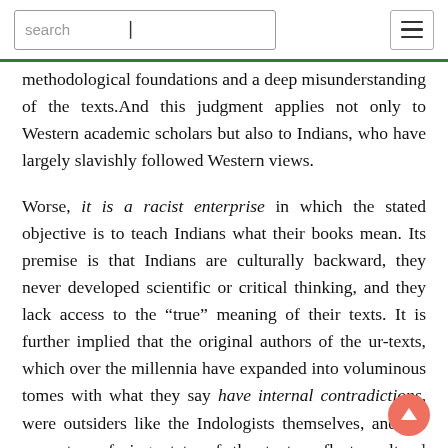search [hamburger menu]
methodological foundations and a deep misunderstanding of the texts.And this judgment applies not only to Western academic scholars but also to Indians, who have largely slavishly followed Western views.
Worse, it is a racist enterprise in which the stated objective is to teach Indians what their books mean. Its premise is that Indians are culturally backward, they never developed scientific or critical thinking, and they lack access to the “true” meaning of their texts. It is further implied that the original authors of the ur-texts, which over the millennia have expanded into voluminous tomes with what they say have internal contradictions, were outsiders like the Indologists themselves, and the current confusing state of the texts reflects cultural shortcomings of Indians as a consequence of the